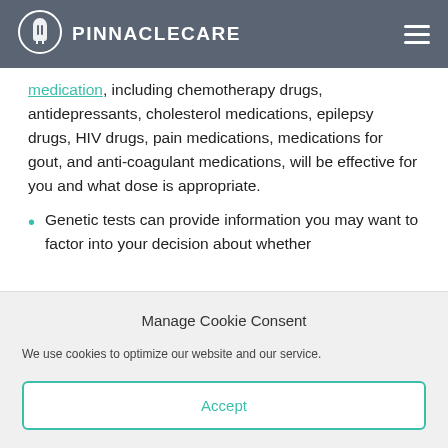PinnacleCare
medication, including chemotherapy drugs, antidepressants, cholesterol medications, epilepsy drugs, HIV drugs, pain medications, medications for gout, and anti-coagulant medications, will be effective for you and what dose is appropriate.
Genetic tests can provide information you may want to factor into your decision about whether
Manage Cookie Consent
We use cookies to optimize our website and our service.
Accept